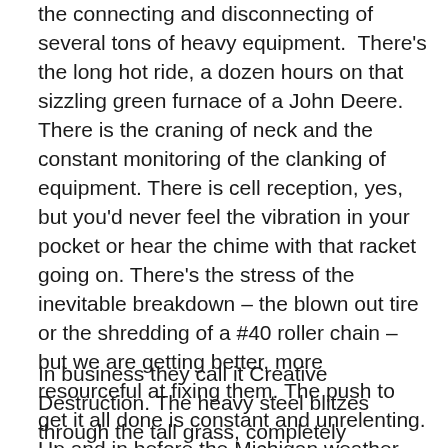the connecting and disconnecting of several tons of heavy equipment.  There's the long hot ride, a dozen hours on that sizzling green furnace of a John Deere. There is the craning of neck and the constant monitoring of the clanking of equipment. There is cell reception, yes, but you'd never feel the vibration in your pocket or hear the chime with that racket going on. There's the stress of the inevitable breakdown – the blown out tire or the shredding of a #40 roller chain – but we are getting better, more resourceful at fixing them. The push to get it all done is constant and unrelenting. Up and in before the Michigan weather changes, before the rain, before the dew, before my flight to Houston.
In business they call it Creative Destruction. The heavy steel blitzes through the tall grass, completely thrashing the field, exposing mice and snakes and hordes of